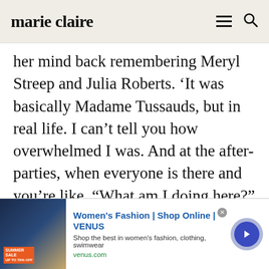marie claire
her mind back remembering Meryl Streep and Julia Roberts. ‘It was basically Madame Tussauds, but in real life. I can’t tell you how overwhelmed I was. And at the after-parties, when everyone is there and you’re like, “What am I doing here?” Because I don’t have my friends with me at those events. If I had my girlfriends who grew up with me on Portobello Road, I’d be like, fuck it, this is so cool. Don’t
[Figure (screenshot): Advertisement banner for Women's Fashion | Shop Online | VENUS. Shows ad image with Summer Sale text, ad title in blue, subtitle and URL in green.]